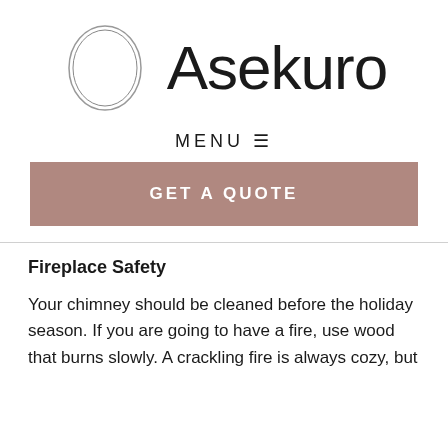[Figure (logo): Asekuro logo: a hand-drawn style circle on the left and the word 'Asekuro' in large light sans-serif font on the right]
MENU ≡
GET A QUOTE
Fireplace Safety
Your chimney should be cleaned before the holiday season. If you are going to have a fire, use wood that burns slowly. A crackling fire is always cozy, but